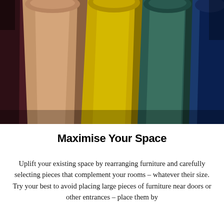[Figure (photo): Close-up photo of colorful fabric rolls or curtains hanging vertically in shades of dark maroon, tan/beige, yellow/mustard, dark teal/green, and blue, photographed from below looking upward.]
Maximise Your Space
Uplift your existing space by rearranging furniture and carefully selecting pieces that complement your rooms – whatever their size. Try your best to avoid placing large pieces of furniture near doors or other entrances – place them by